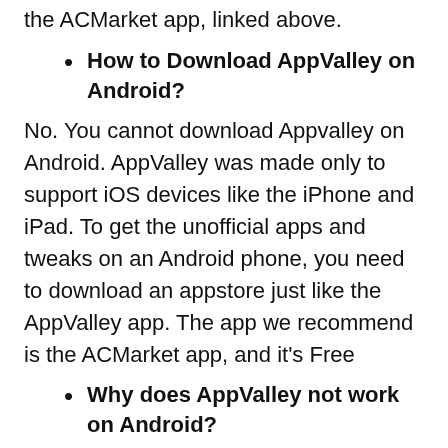the ACMarket app, linked above.
How to Download AppValley on Android?
No. You cannot download Appvalley on Android. AppValley was made only to support iOS devices like the iPhone and iPad. To get the unofficial apps and tweaks on an Android phone, you need to download an appstore just like the AppValley app. The app we recommend is the ACMarket app, and it's Free
Why does AppValley not work on Android?
Since AppValley was not created for Android,